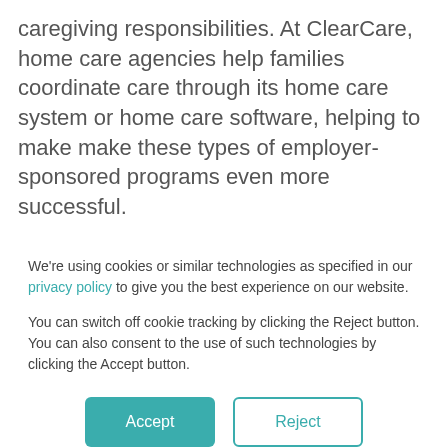caregiving responsibilities. At ClearCare, home care agencies help families coordinate care through its home care system or home care software, helping to make make these types of employer-sponsored programs even more successful.

By combining the power of a home care software or home care system, such as ClearCare, with flexible employer scheduling and easily accessible
We're using cookies or similar technologies as specified in our privacy policy to give you the best experience on our website.
You can switch off cookie tracking by clicking the Reject button. You can also consent to the use of such technologies by clicking the Accept button.